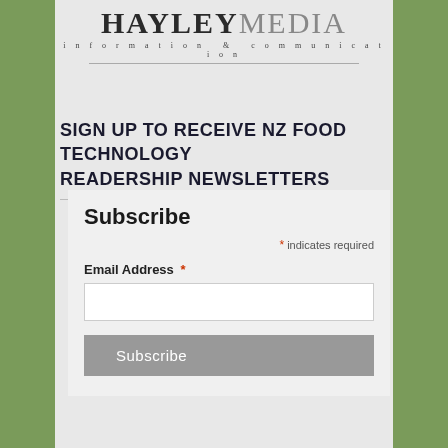[Figure (logo): Hayley Media logo with bold serif 'HAYLEY' and lighter 'MEDIA', tagline 'information & communication' below with horizontal rule]
SIGN UP TO RECEIVE NZ FOOD TECHNOLOGY READERSHIP NEWSLETTERS
Subscribe
* indicates required
Email Address *
Subscribe